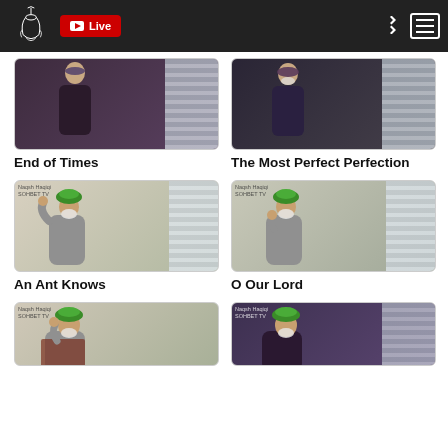Live
[Figure (screenshot): Video thumbnail: elderly man in dark robe seated]
End of Times
[Figure (screenshot): Video thumbnail: elderly man with beard in dark robe]
The Most Perfect Perfection
[Figure (screenshot): Video thumbnail: elderly man in green turban and grey robe gesturing with raised hand]
An Ant Knows
[Figure (screenshot): Video thumbnail: elderly man in green turban and grey robe gesturing]
O Our Lord
[Figure (screenshot): Video thumbnail: elderly man in green turban gesturing, partial view]
[Figure (screenshot): Video thumbnail: elderly man in green turban, partial view]